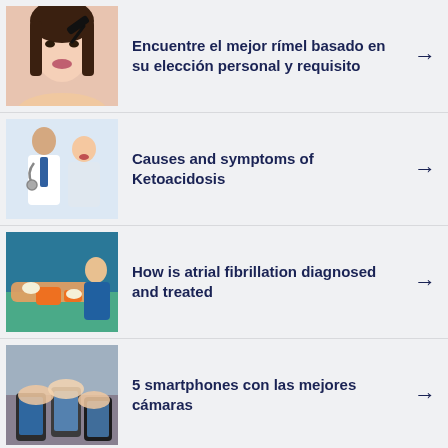[Figure (photo): Woman applying mascara]
Encuentre el mejor rímel basado en su elección personal y requisito
[Figure (photo): Doctor examining a patient]
Causes and symptoms of Ketoacidosis
[Figure (photo): Medical team treating a patient with atrial fibrillation]
How is atrial fibrillation diagnosed and treated
[Figure (photo): People holding smartphones]
5 smartphones con las mejores cámaras